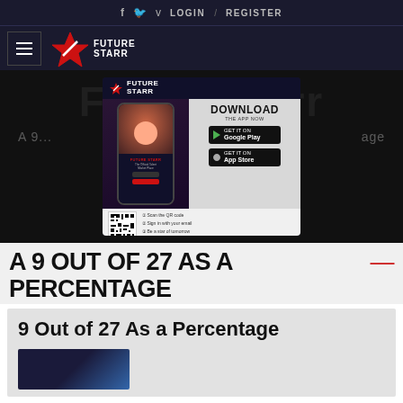f  Twitter  v  LOGIN  /  REGISTER
[Figure (logo): FutureStarr logo with star icon and hamburger menu]
[Figure (advertisement): FutureStarr app download advertisement showing phone mockup, Download The App Now, Google Play and App Store buttons, QR code, and steps to get started. URL: www.futurestarr.com]
A 9 OUT OF 27 AS A PERCENTAGE—
9 Out of 27 As a Percentage